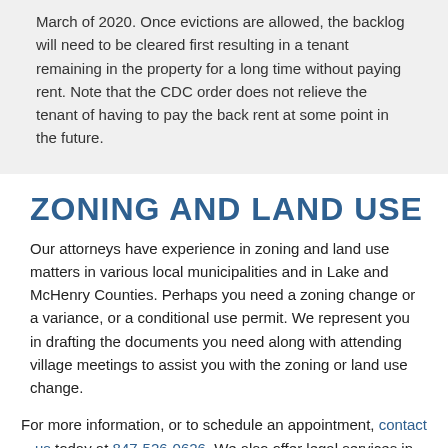March of 2020. Once evictions are allowed, the backlog will need to be cleared first resulting in a tenant remaining in the property for a long time without paying rent. Note that the CDC order does not relieve the tenant of having to pay the back rent at some point in the future.
ZONING AND LAND USE
Our attorneys have experience in zoning and land use matters in various local municipalities and in Lake and McHenry Counties. Perhaps you need a zoning change or a variance, or a conditional use permit. We represent you in drafting the documents you need along with attending village meetings to assist you with the zoning or land use change.
For more information, or to schedule an appointment, contact us today at 847-526-0626. We also offer legal services in estate planning and other areas. We look forward to providing you with the quality representation you deserve.